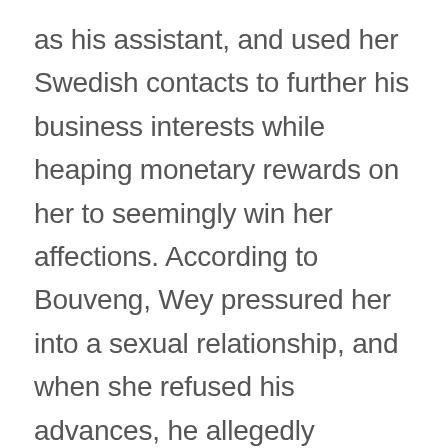as his assistant, and used her Swedish contacts to further his business interests while heaping monetary rewards on her to seemingly win her affections. According to Bouveng, Wey pressured her into a sexual relationship, and when she refused his advances, he allegedly terminated her employment, waged war on her reputation through social media, stalked her, and threatened her with further ruin. Ms. Bouveng fought back in